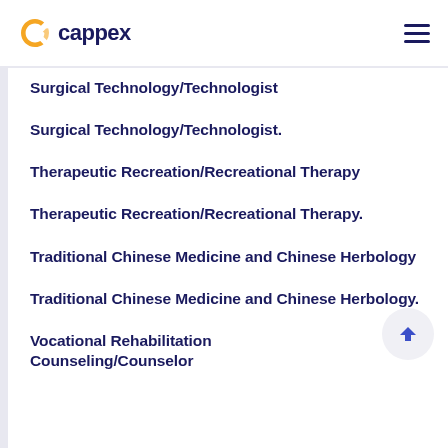cappex
Surgical Technology/Technologist
Surgical Technology/Technologist.
Therapeutic Recreation/Recreational Therapy
Therapeutic Recreation/Recreational Therapy.
Traditional Chinese Medicine and Chinese Herbology
Traditional Chinese Medicine and Chinese Herbology.
Vocational Rehabilitation Counseling/Counselor